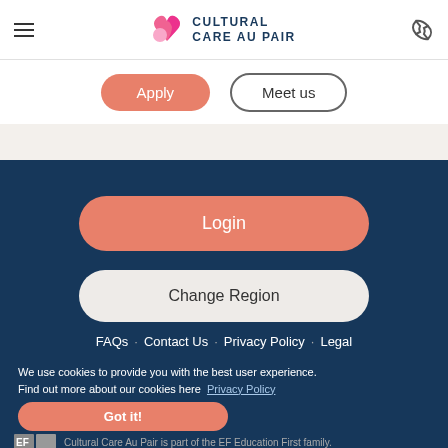[Figure (logo): Cultural Care Au Pair logo with pink heart icon and dark blue text]
Apply
Meet us
Login
Change Region
FAQs · Contact Us · Privacy Policy · Legal
We use cookies to provide you with the best user experience. Find out more about our cookies here Privacy Policy
Got it!
Cultural Care Au Pair is part of the EF Education First family.